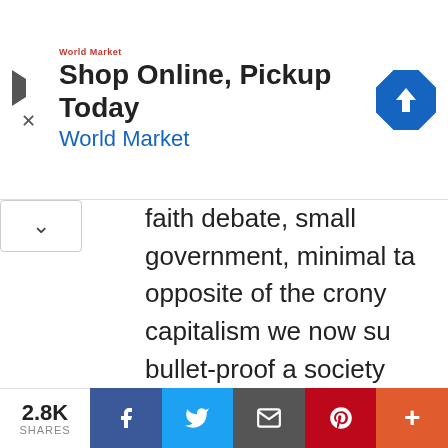[Figure (other): Advertisement banner: Shop Online, Pickup Today - World Market, with red arrow navigation icon]
faith debate, small government, minimal ta... opposite of the crony capitalism we now su... bullet-proof a society against the soulless d... bloated government institutions and again... themselves to the government's teat.
Yes, we need a Great Reset. Just not the su... Forum imagined.
2.8K SHARES | Facebook | Twitter | Email | Pinterest | More